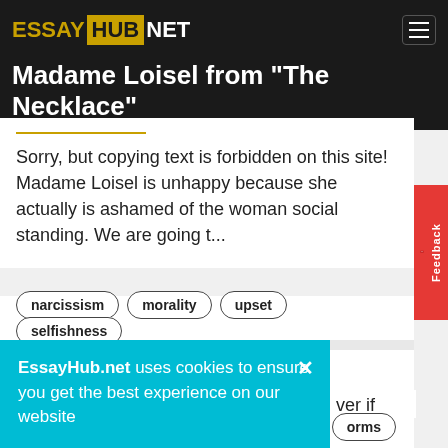ESSAY HUB NET
Madame Loisel from "The Necklace"
Sorry, but copying text is forbidden on this site! Madame Loisel is unhappy because she actually is ashamed of the woman social standing. We are going t...
narcissism
morality
upset
selfishness
Should students wear school uniform? Essay sample
Should pupils need certainly to wear school uniforms? There clearly was a keenly debated [topic, whether if]...
EssayHub.net uses cookies to ensure you get the best experience on our website